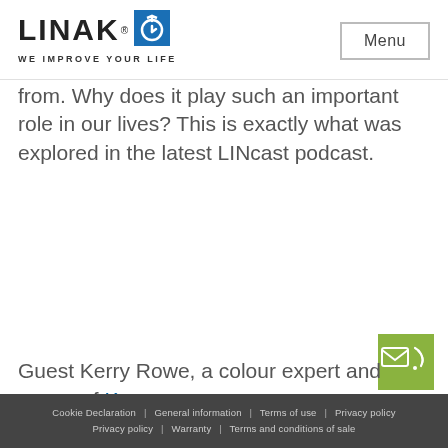LINAK® WE IMPROVE YOUR LIFE | Menu
from. Why does it play such an important role in our lives? This is exactly what was explored in the latest LINcast podcast.
[Figure (illustration): Green contact button with email and phone icons]
Guest Kerry Rowe, a colour expert and owner of Kerry
Cookie Declaration | General information | Terms of use | Privacy policy | Warranty | Terms and conditions of sale